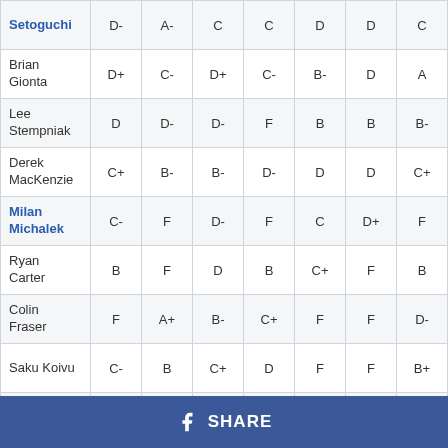| Player | Col1 | Col2 | Col3 | Col4 | Col5 | Col6 | Col7 |
| --- | --- | --- | --- | --- | --- | --- | --- |
| Setoguchi | D- | A- | C | C | D | D | C |
| Brian Gionta | D+ | C- | D+ | C- | B- | D | A |
| Lee Stempniak | D | D- | D- | F | B | B | B- |
| Derek MacKenzie | C+ | B- | B- | D- | D | D | C+ |
| Milan Michalek | C- | F | D- | F | C | D+ | F |
| Ryan Carter | B | F | D | B | C+ | F | B |
| Colin Fraser | F | A+ | B- | C+ | F | F | D- |
| Saku Koivu | C- | B | C+ | D | F | F | B+ |
| Ryan Smyth | F | A- | C | D+ | C+ | B- | A+ |
| Scott Gomez | F | C+ | F | F | F | D- | B |
| Dany Heatley | C- | D+ | D+ | F | F | F | D- |
SHARE